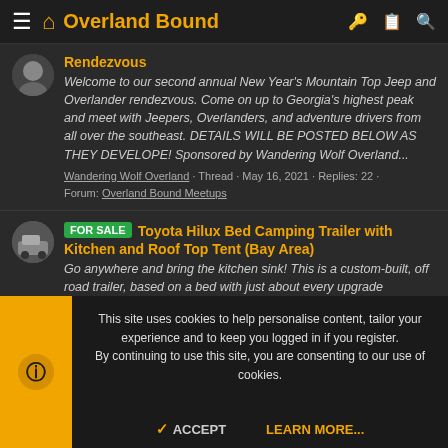Overland Bound
Rendezvous
Welcome to our second annual New Year's Mountain Top Jeep and Overlander rendezvous. Come on up to Georgia's highest peak and meet with Jeepers, Overlanders, and adventure drivers from all over the southeast. DETAILS WILL BE POSTED BELOW AS THEY DEVELOPE! Sponsored by Wandering Wolf Overland...
Wandering Wolf Overland · Thread · May 16, 2021 · Replies: 22 · Forum: Overland Bound Meetups
FOR SALE Toyota Hilux Bed Camping Trailer with Kitchen and Roof Top Tent (Bay Area)
Go anywhere and bring the kitchen sink! This is a custom-built, off road trailer, based on a bed with just about every upgrade imaginable. Over-built to handle anything. Tows great on and off road. Roof top tent with...
This site uses cookies to help personalise content, tailor your experience and to keep you logged in if you register.
By continuing to use this site, you are consenting to our use of cookies.
ACCEPT   LEARN MORE...